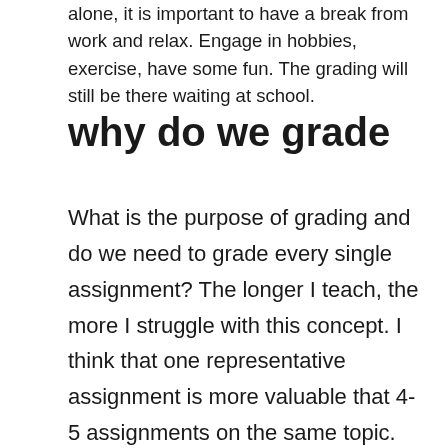alone, it is important to have a break from work and relax. Engage in hobbies, exercise, have some fun. The grading will still be there waiting at school.
why do we grade
What is the purpose of grading and do we need to grade every single assignment? The longer I teach, the more I struggle with this concept. I think that one representative assignment is more valuable that 4-5 assignments on the same topic. So I now give fewer assignments and make those assignments directly related to the